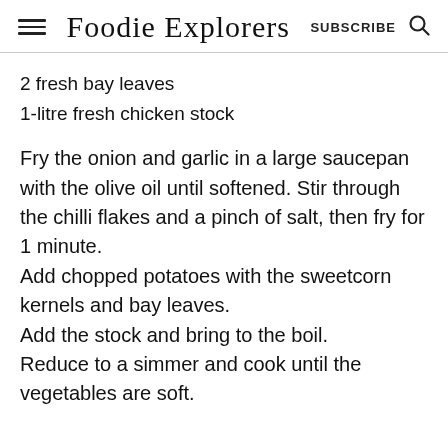Foodie Explorers | SUBSCRIBE
2 fresh bay leaves
1-litre fresh chicken stock
Fry the onion and garlic in a large saucepan with the olive oil until softened. Stir through the chilli flakes and a pinch of salt, then fry for 1 minute. Add chopped potatoes with the sweetcorn kernels and bay leaves. Add the stock and bring to the boil. Reduce to a simmer and cook until the vegetables are soft.